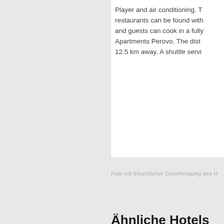Player and air conditioning. T restaurants can be found with and guests can cook in a fully Apartments Perovo. The dist 12.5 km away. A shuttle servi
Foto mit freundlicher Genehmigung des H
Ähnliche Hotels
[Figure (photo): Exterior photo of Melodiya hotel building, a multi-storey structure with many windows, taken from street level with blue sky above]
Melodiya
Skatertny Pereulo
Nur 5 Gehminuten begrüßt Sie die Zimmern mit S
[Figure (photo): Partial photo of Borodino hotel (partially visible at bottom of page)]
Borodin